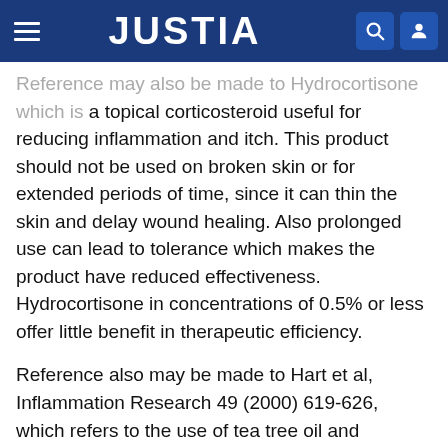JUSTIA
Reference may also be made to Hydrocortisone which is a topical corticosteroid useful for reducing inflammation and itch. This product should not be used on broken skin or for extended periods of time, since it can thin the skin and delay wound healing. Also prolonged use can lead to tolerance which makes the product have reduced effectiveness. Hydrocortisone in concentrations of 0.5% or less offer little benefit in therapeutic efficiency.
Reference also may be made to Hart et al, Inflammation Research 49 (2000) 619-626, which refers to the use of tea tree oil and constituents of tea tree oil as an anti-inflammatory agent In this reference it was established that the only specific report on tea tree oil being an anti-inflammatory agent was an in vitro study published as an abstract, Pippin et al, J. Dent Res. 1994 73 259, wherein it was found that the addition of tea tree oil to